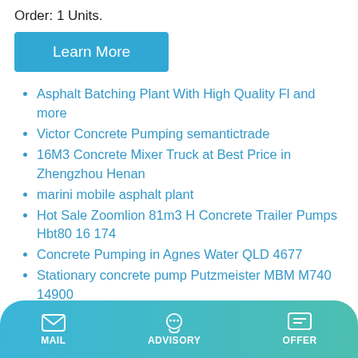Order: 1 Units.
[Figure (other): A blue button labeled 'Learn More']
Asphalt Batching Plant With High Quality Fl and more
Victor Concrete Pumping semantictrade
16M3 Concrete Mixer Truck at Best Price in Zhengzhou Henan
marini mobile asphalt plant
Hot Sale Zoomlion 81m3 H Concrete Trailer Pumps Hbt80 16 174
Concrete Pumping in Agnes Water QLD 4677
Stationary concrete pump Putzmeister MBM M740 14900
good performance jzm500 concrete mixer
self loading concrete mixers export to indonesia construction
small wet cement ready mixed batch concrete batching
MAIL   ADVISORY   OFFER